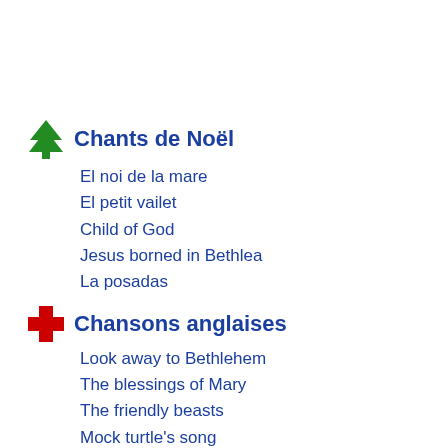Chants de Noël
El noi de la mare
El petit vailet
Child of God
Jesus borned in Bethlea
La posadas
Chansons anglaises
Look away to Bethlehem
The blessings of Mary
The friendly beasts
Mock turtle's song
The hunt is up